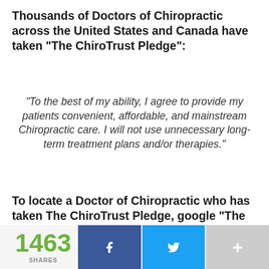Thousands of Doctors of Chiropractic across the United States and Canada have taken "The ChiroTrust Pledge":
“To the best of my ability, I agree to provide my patients convenient, affordable, and mainstream Chiropractic care. I will not use unnecessary long-term treatment plans and/or therapies.”
To locate a Doctor of Chiropractic who has taken The ChiroTrust Pledge, google "The ChiroTrust Pledge" and the name of a town in quotes.
(example: “ChiroTrust Pledge” “Olympia, WA”)
1463 SHARES